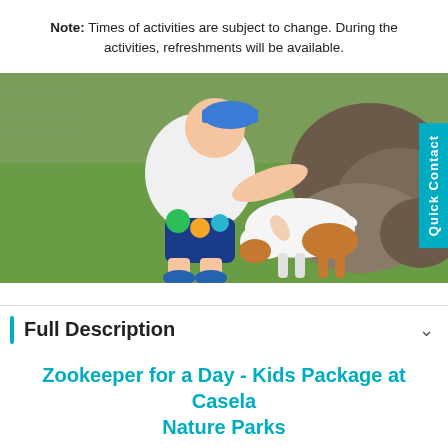Note: Times of activities are subject to change. During the activities, refreshments will be available.
[Figure (photo): A child in a white t-shirt and colorful shorts petting a white and brown goat near large rocks on a grass field, with wire fencing visible in the background.]
Full Description
Zookeeper for a Day - Kids Package at Casela Nature Parks
It is hard to please everyone on a family holiday, especially kids!